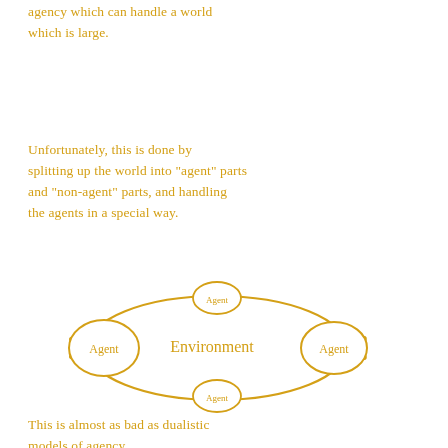agency which can handle a world which is large.
Unfortunately, this is done by splitting up the world into "agent" parts and "non-agent" parts, and handling the agents in a special way.
[Figure (illustration): Hand-drawn diagram showing a large oval shape labeled 'Environment' in the center. Three smaller circles labeled 'Agent' are attached around the large oval — one on the left side, one on the upper top, and one on the lower bottom. A fourth circle labeled 'Agent' is on the right side. The overall shape resembles a rounded bat-wing or eye shape.]
This is almost as bad as dualistic models of agency.